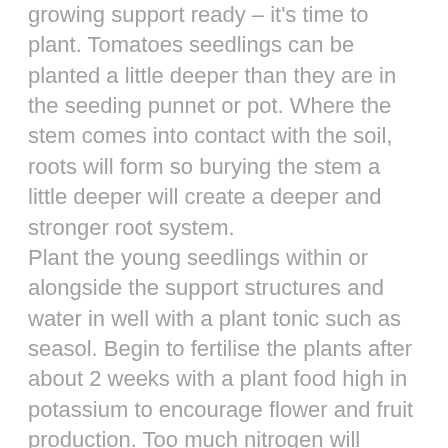growing support ready – it's time to plant. Tomatoes seedlings can be planted a little deeper than they are in the seeding punnet or pot. Where the stem comes into contact with the soil, roots will form so burying the stem a little deeper will create a deeper and stronger root system.
Plant the young seedlings within or alongside the support structures and water in well with a plant tonic such as seasol. Begin to fertilise the plants after about 2 weeks with a plant food high in potassium to encourage flower and fruit production. Too much nitrogen will result in massive plants with limited fruit. Ask your garden centre experts for the best advice.
Water